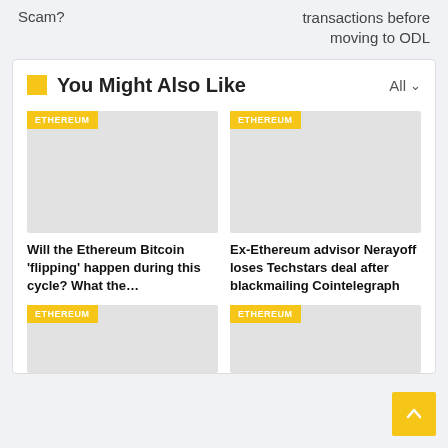Scam?
transactions before moving to ODL
You Might Also Like
[Figure (photo): Article thumbnail image with ETHEREUM tag badge]
Will the Ethereum Bitcoin ‘flipping’ happen during this cycle? What the…
[Figure (photo): Article thumbnail image with ETHEREUM tag badge]
Ex-Ethereum advisor Nerayoff loses Techstars deal after blackmailing Cointelegraph
[Figure (photo): Article thumbnail image with ETHEREUM tag badge]
[Figure (photo): Article thumbnail image with ETHEREUM tag badge]